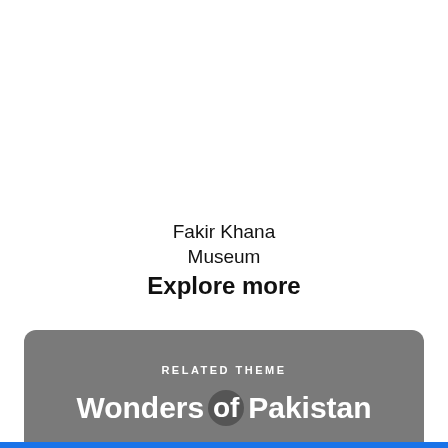Fakir Khana Museum
Explore more
RELATED THEME
Wonders of Pakistan